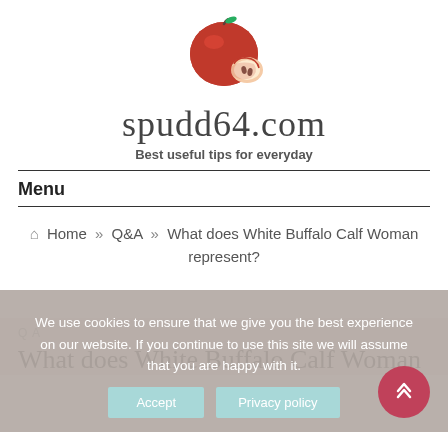[Figure (logo): Red apple with a slice cut off, illustration used as website logo for spudd64.com]
spudd64.com
Best useful tips for everyday
Menu
Home » Q&A » What does White Buffalo Calf Woman represent?
We use cookies to ensure that we give you the best experience on our website. If you continue to use this site we will assume that you are happy with it.
Accept   Privacy policy
Q A
What does White Buffalo Calf Woman